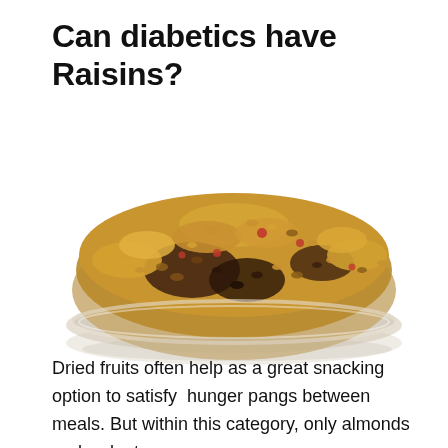Can diabetics have Raisins?
[Figure (photo): A glass plate/bowl filled with a mix of various dried fruits including golden raisins, dark raisins, cranberries, and other mixed dried fruits, photographed from a slight angle on a white background.]
Dried fruits often help as a great snacking option to satisfy  hunger pangs between meals. But within this category, only almonds and walnuts